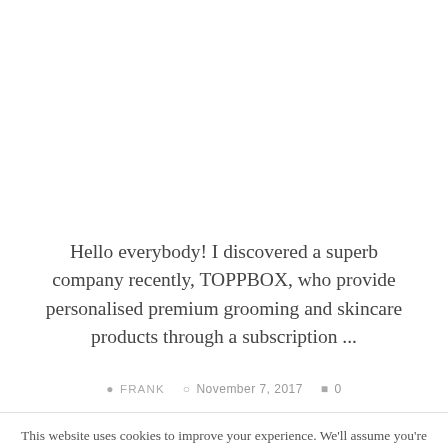Hello everybody! I discovered a superb company recently, TOPPBOX, who provide personalised premium grooming and skincare products through a subscription ...
FRANK   November 7, 2017   0
This website uses cookies to improve your experience. We'll assume you're ok with this, but you can opt-out if you wish.
Accept   Reject   Read More